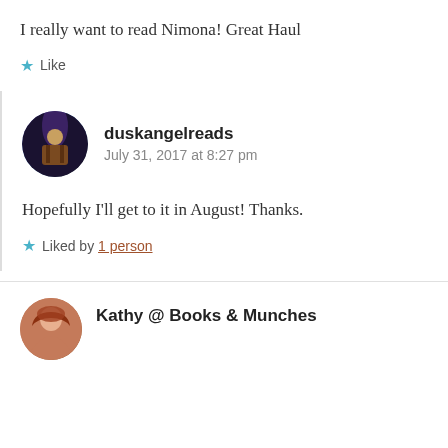I really want to read Nimona! Great Haul
Like
duskangelreads
July 31, 2017 at 8:27 pm
Hopefully I'll get to it in August! Thanks.
Liked by 1 person
Kathy @ Books & Munches